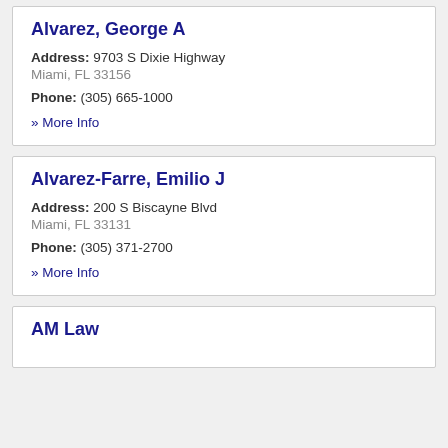Alvarez, George A
Address: 9703 S Dixie Highway
Miami, FL 33156
Phone: (305) 665-1000
» More Info
Alvarez-Farre, Emilio J
Address: 200 S Biscayne Blvd
Miami, FL 33131
Phone: (305) 371-2700
» More Info
AM Law